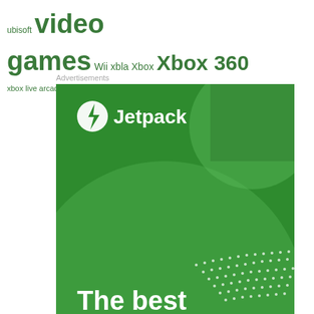ubisoft video games Wii xbla Xbox Xbox 360 xbox live arcade
Advertisements
[Figure (illustration): Jetpack advertisement banner with green background, circular design elements, Jetpack logo with lightning bolt icon, and partial text reading 'The best' at the bottom]